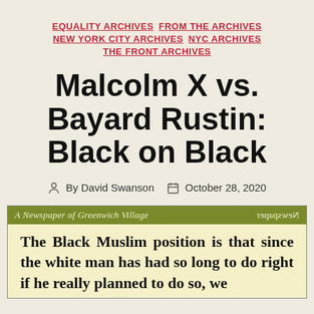EQUALITY ARCHIVES  FROM THE ARCHIVES  NEW YORK CITY ARCHIVES  NYC ARCHIVES  THE FRONT ARCHIVES
Malcolm X vs. Bayard Rustin: Black on Black
By David Swanson  October 28, 2020
[Figure (screenshot): Newspaper clipping from 'A Newspaper of Greenwich Village' with header bar in olive green. The text reads: 'The Black Muslim position is that since the white man has had so long to do right if he really planned to do so, we']